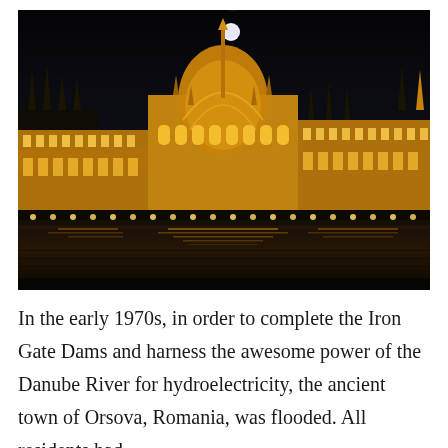[Figure (photo): Nighttime photograph of the Hungarian Parliament Building illuminated in golden light, reflected in the Danube River, with a full moon visible in the dark sky above.]
In the early 1970s, in order to complete the Iron Gate Dams and harness the awesome power of the Danube River for hydroelectricity, the ancient town of Orsova, Romania, was flooded. All residents had